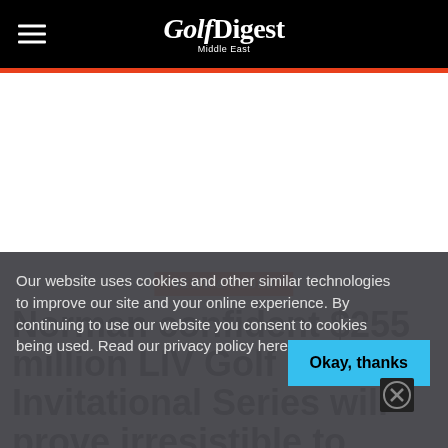Golf Digest Middle East
NEWS & TOURS
Norman confident $255 million LIV Golf Invitational Series will prove irresistible to game's biggest
Our website uses cookies and other similar technologies to improve our site and your online experience. By continuing to use our website you consent to cookies being used. Read our privacy policy here.